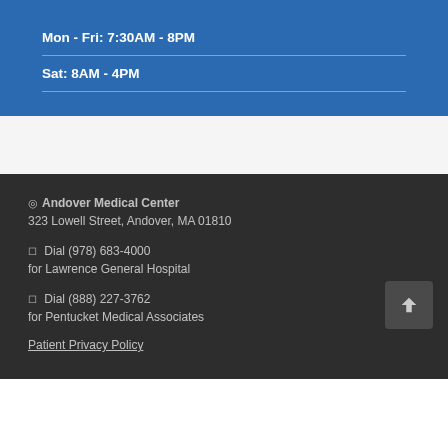Mon - Fri: 7:30AM - 8PM
Sat: 8AM - 4PM
◎ Andover Medical Center
323 Lowell Street, Andover, MA 01810
☐ Dial (978) 683-4000
for Lawrence General Hospital
☐ Dial (888) 227-3762
for Pentucket Medical Associates
Patient Privacy Policy